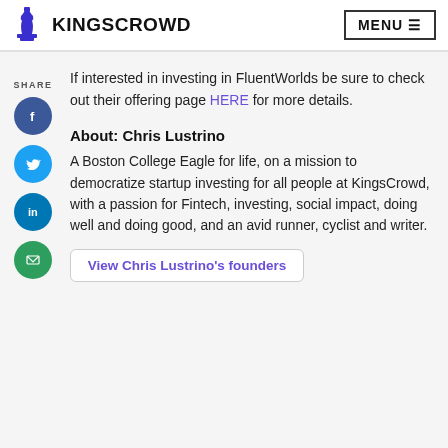KINGSCROWD  MENU
If interested in investing in FluentWorlds be sure to check out their offering page HERE for more details.
About: Chris Lustrino
A Boston College Eagle for life, on a mission to democratize startup investing for all people at KingsCrowd, with a passion for Fintech, investing, social impact, doing well and doing good, and an avid runner, cyclist and writer.
View Chris Lustrino's founders